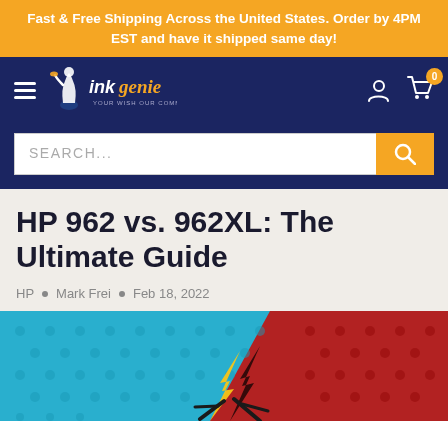Fast & Free Shipping Across the United States. Order by 4PM EST and have it shipped same day!
[Figure (logo): Ink Genie logo with genie figure, text 'ink genie' and tagline 'YOUR WISH OUR COMMAND' on navy navigation bar with hamburger menu, user icon, and shopping cart with badge showing 0]
[Figure (other): Search bar with placeholder text SEARCH... and orange search button]
HP 962 vs. 962XL: The Ultimate Guide
HP • Mark Frei • Feb 18, 2022
[Figure (illustration): Comic-style hero image with blue and red halftone dot background, partial view of a lightning bolt graphic in yellow/black at the bottom center]